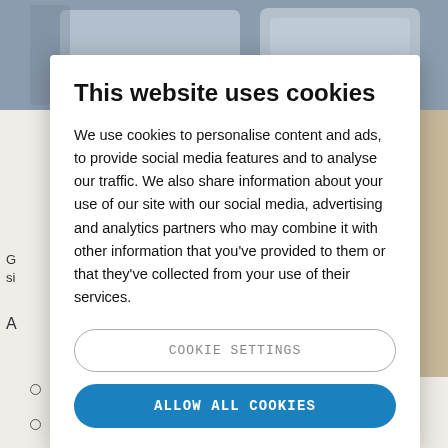[Figure (screenshot): Background screenshot of a webpage with a photo of devices at the top and partial text visible on left side, overlaid by a cookie consent modal dialog.]
This website uses cookies
We use cookies to personalise content and ads, to provide social media features and to analyse our traffic. We also share information about your use of our site with our social media, advertising and analytics partners who may combine it with other information that you've provided to them or that they've collected from your use of their services.
COOKIE SETTINGS
ALLOW ALL COOKIES
Remote access and control
Quick analysis: timesaving